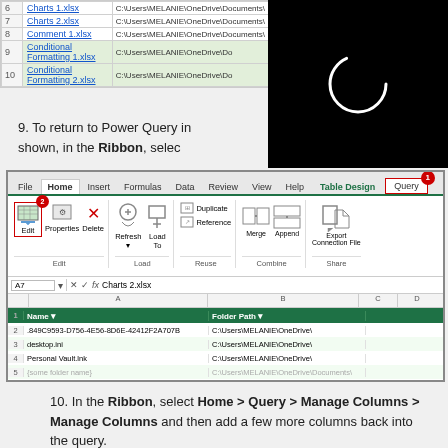[Figure (screenshot): Top portion showing a spreadsheet listing xlsx files and their paths, with a black loading screen overlay showing a white circular spinner]
9. To return to Power Query in shown, in the Ribbon, selec
[Figure (screenshot): Excel ribbon screenshot showing the Query tab selected with red border, Edit button highlighted with red border and badge 2. Spreadsheet shows columns Name and Folder Path with file entries.]
10. In the Ribbon, select Home > Query > Manage Columns > Manage Columns and then add a few more columns back into the query.